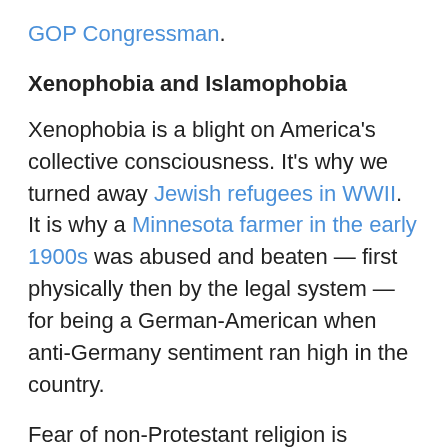GOP Congressman.
Xenophobia and Islamophobia
Xenophobia is a blight on America's collective consciousness. It's why we turned away Jewish refugees in WWII. It is why a Minnesota farmer in the early 1900s was abused and beaten — first physically then by the legal system — for being a German-American when anti-Germany sentiment ran high in the country.
Fear of non-Protestant religion is another unsolved problem. Although Hillary correctly stated in Sunday's debate that Muslims have been in this country as far back as George Washington, she did gloss over the persecution they endured. In the beginning, the preferred religion was white Protestant — as Jews, Catholics, Muslims and even